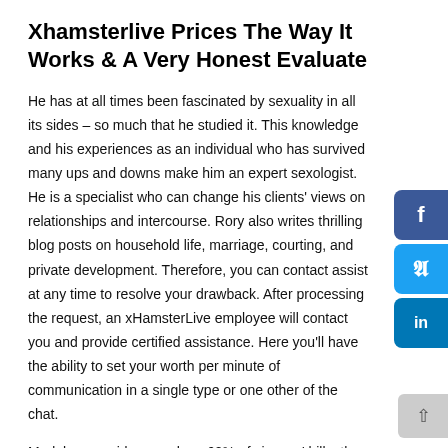Xhamsterlive Prices The Way It Works & A Very Honest Evaluate
He has at all times been fascinated by sexuality in all its sides – so much that he studied it. This knowledge and his experiences as an individual who has survived many ups and downs make him an expert sexologist. He is a specialist who can change his clients' views on relationships and intercourse. Rory also writes thrilling blog posts on household life, marriage, courting, and private development. Therefore, you can contact assist at any time to resolve your drawback. After processing the request, an xHamsterLive employee will contact you and provide certified assistance. Here you'll have the ability to set your worth per minute of communication in a single type or one other of the chat.
Models are paid as much as 60% of viewers' bills, the percentage is decided by how large the package deal of tokens was bought by the shopper. Upon receipt of tokens, $ 0.05 is charged for each of them. The administrator then selects title here from the platform.